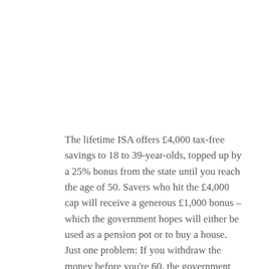The lifetime ISA offers £4,000 tax-free savings to 18 to 39-year-olds, topped up by a 25% bonus from the state until you reach the age of 50. Savers who hit the £4,000 cap will receive a generous £1,000 bonus – which the government hopes will either be used as a pension pot or to buy a house. Just one problem: If you withdraw the money before you're 60, the government will hit you with a 25% exit fee. Baroness Altmann also raised fears that the LISA acts as a disincentive to workplace pensions. Dismissing